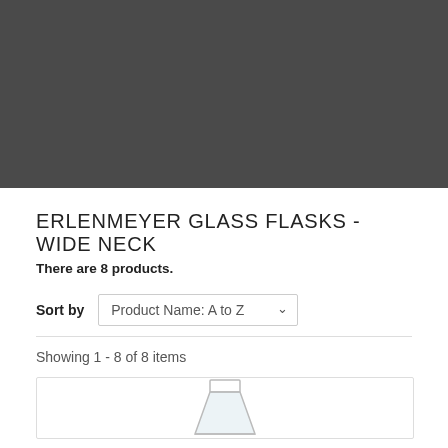[Figure (photo): Dark gray banner image at the top of the page, representing the category header for Erlenmeyer Glass Flasks - Wide Neck]
ERLENMEYER GLASS FLASKS - WIDE NECK
There are 8 products.
Sort by  Product Name: A to Z
Showing 1 - 8 of 8 items
[Figure (photo): Partial view of an Erlenmeyer glass flask product card at the bottom of the page]